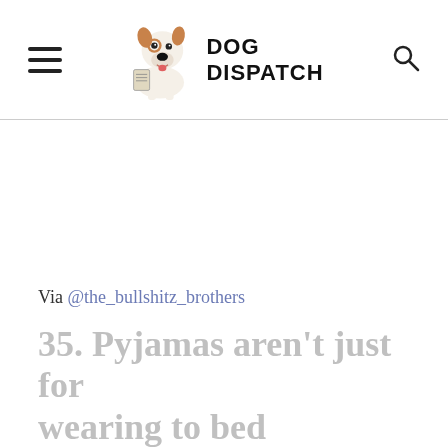DOG DISPATCH
Via @the_bullshitz_brothers
35. Pyjamas aren't just for wearing to bed